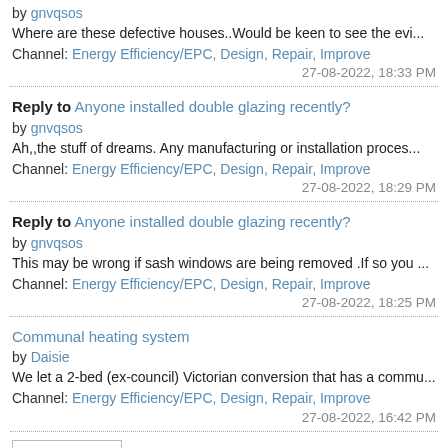by gnvqsos
Where are these defective houses..Would be keen to see the evi...
Channel: Energy Efficiency/EPC, Design, Repair, Improve
27-08-2022, 18:33 PM
Reply to Anyone installed double glazing recently?
by gnvqsos
Ah,,the stuff of dreams. Any manufacturing or installation proces...
Channel: Energy Efficiency/EPC, Design, Repair, Improve
27-08-2022, 18:29 PM
Reply to Anyone installed double glazing recently?
by gnvqsos
This may be wrong if sash windows are being removed .If so you ...
Channel: Energy Efficiency/EPC, Design, Repair, Improve
27-08-2022, 18:25 PM
Communal heating system
by Daisie
We let a 2-bed (ex-council) Victorian conversion that has a commu...
Channel: Energy Efficiency/EPC, Design, Repair, Improve
27-08-2022, 16:42 PM
View All